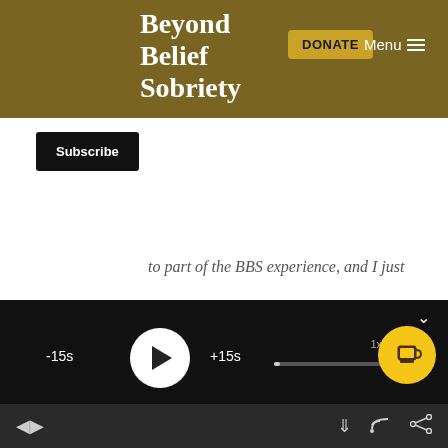Beyond Belief Sobriety
DONATE
Menu
Subscribe
to part of the BBS experience, and I just really want to invite anybody that has been thinking about joining us to take the plunge and come and join us. And you won't find a better group of just more intelligent and compassionate women at all levels of sobriety. And I'm just really grateful to be a part of it and I'm thankful they're part of my recovery and it's just a
[Figure (screenshot): Audio player controls with play button, -15s skip back, +15s skip forward, progress bar, speed indicator, coffee tip button, and bottom navigation icons (previous, next, download, cast, share)]